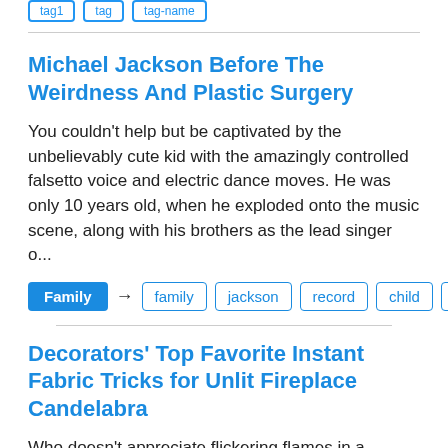Michael Jackson Before The Weirdness And Plastic Surgery
You couldn't help but be captivated by the unbelievably cute kid with the amazingly controlled falsetto voice and electric dance moves. He was only 10 years old, when he exploded onto the music scene, along with his brothers as the lead singer o...
Family → family  jackson  record  child  they
Decorators' Top Favorite Instant Fabric Tricks for Unlit Fireplace Candelabra
Who doesn't appreciate flickering flames in a fireplace? For those who don't have the inclination or time for burning firewood in their fireplace, fireplace candelabra are the obvious answer. They provide that